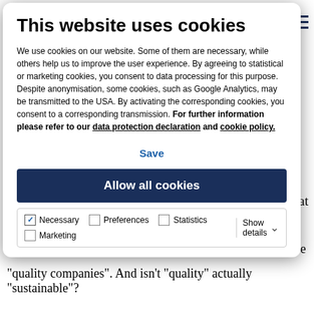This website uses cookies
We use cookies on our website. Some of them are necessary, while others help us to improve the user experience. By agreeing to statistical or marketing cookies, you consent to data processing for this purpose. Despite anonymisation, some cookies, such as Google Analytics, may be transmitted to the USA. By activating the corresponding cookies, you consent to a corresponding transmission. For further information please refer to our data protection declaration and cookie policy.
Save
Allow all cookies
Necessary  Preferences  Statistics  Marketing  Show details
profitability and investment that explain their outperformance.5 One might think that "sin companies" are "quality companies". And isn't "quality" actually "sustainable"?